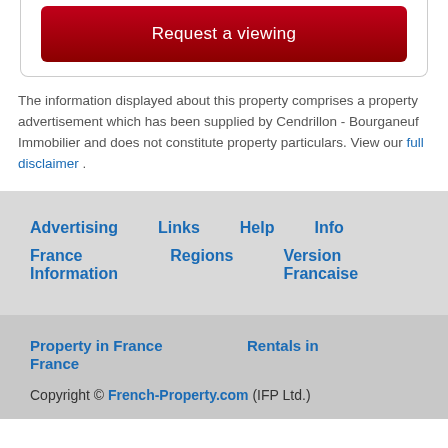Request a viewing
The information displayed about this property comprises a property advertisement which has been supplied by Cendrillon - Bourganeuf Immobilier and does not constitute property particulars. View our full disclaimer .
Advertising
Links
Help
Info
France Information
Regions
Version Francaise
Property in France
Rentals in France
Copyright © French-Property.com (IFP Ltd.)